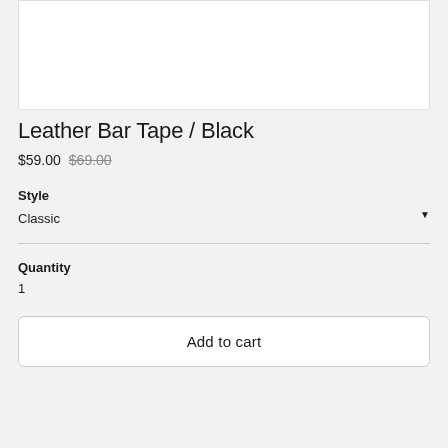[Figure (photo): Product image area, white background (partially visible at top)]
Leather Bar Tape / Black
$59.00 $69.00
Style
Classic
Quantity
1
Add to cart